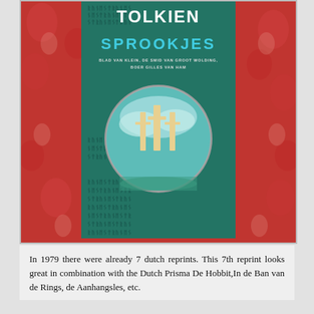[Figure (photo): A photo of a Tolkien 'Sprookjes' book cover (Dutch edition). The cover is teal/green with a circular illustration in the center showing figures among tall, bright shapes against a turquoise sky. The book title 'Sprookjes' is in large cyan letters and the author name 'Tolkien' is at the top in white. The subtitle reads 'Blad van Klein, De Smid van Groot Wolding, Boer Gilles van Ham'. The book is placed on a red floral patterned fabric background.]
In 1979 there were already 7 dutch reprints. This 7th reprint looks great in combination with the Dutch Prisma De Hobbit,In de Ban van de Rings, de Aanhangsles, etc.